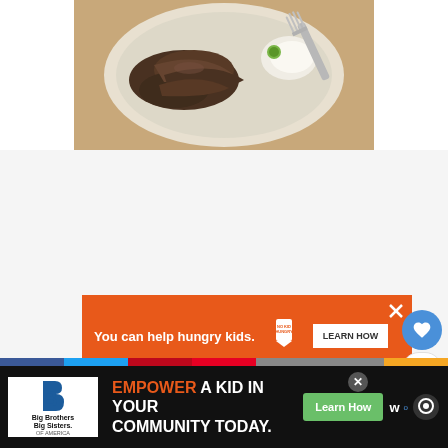[Figure (photo): A white plate with sliced meat (possibly Korean BBQ or similar) and a fork, viewed from above, on a light-colored surface]
[Figure (other): Orange advertisement banner: 'You can help hungry kids.' with No Kid Hungry logo and 'LEARN HOW' button, with close X button]
[Figure (other): Heart/like button (blue circle with white heart), count '1', and share button on right sidebar]
[Figure (other): Bottom advertisement banner: Big Brothers Big Sisters logo, 'EMPOWER A KID IN YOUR COMMUNITY TODAY.' with Learn How button, close X, and app icons]